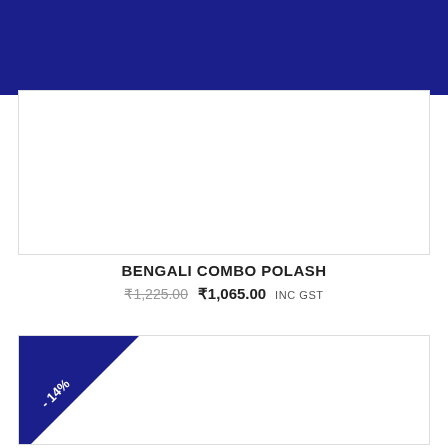[Figure (other): Dark navy blue header banner at the top of the page]
[Figure (other): White product image card with light gray border (top product)]
BENGALI COMBO POLASH
₹1,225.00  ₹1,065.00  INC GST
[Figure (other): White product image card with light gray border and a -14% discount badge in the corner (bottom product)]